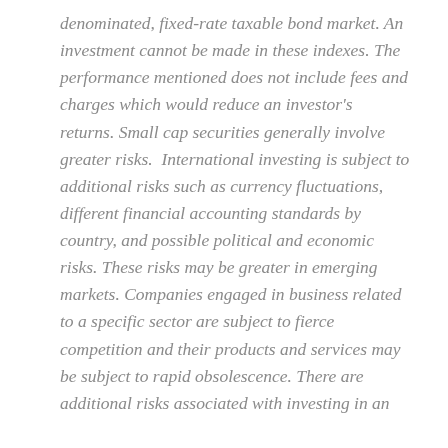denominated, fixed-rate taxable bond market. An investment cannot be made in these indexes. The performance mentioned does not include fees and charges which would reduce an investor's returns. Small cap securities generally involve greater risks.  International investing is subject to additional risks such as currency fluctuations, different financial accounting standards by country, and possible political and economic risks. These risks may be greater in emerging markets. Companies engaged in business related to a specific sector are subject to fierce competition and their products and services may be subject to rapid obsolescence. There are additional risks associated with investing in an